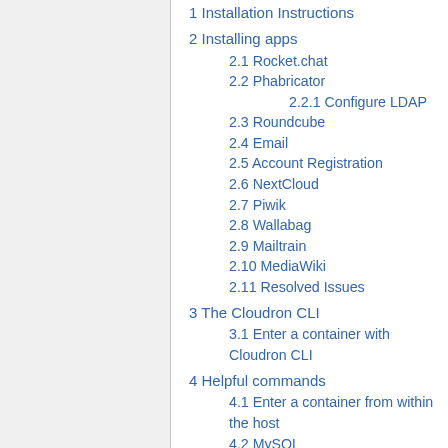1 Installation Instructions
2 Installing apps
2.1 Rocket.chat
2.2 Phabricator
2.2.1 Configure LDAP
2.3 Roundcube
2.4 Email
2.5 Account Registration
2.6 NextCloud
2.7 Piwik
2.8 Wallabag
2.9 Mailtrain
2.10 MediaWiki
2.11 Resolved Issues
3 The Cloudron CLI
3.1 Enter a container with Cloudron CLI
4 Helpful commands
4.1 Enter a container from within the host
4.2 MySQL
4.3 ToDo Action Items